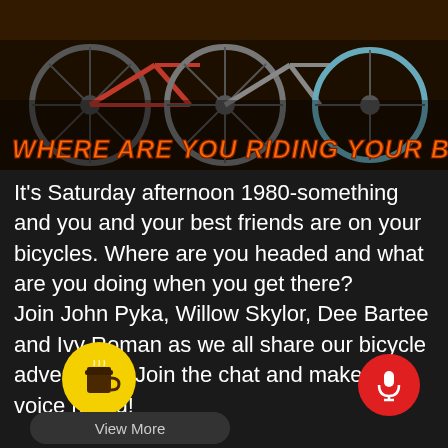[Figure (photo): Photo of vintage bicycles parked together with a banner overlay reading WHERE ARE YOU RIDING YOUR BIKES? in orange italic text on a dark background]
It's Saturday afternoon 1980-something and you and your best friends are on your bicycles. Where are you headed and what are you doing when you get there?
Join John Pyka, Willow Skylor, Dee Bartee and Ivy Roman as we all share our bicycle adventures! Join the chat and make your voice heard!
[Figure (illustration): Yellow circle button with a coffee cup icon (Buy Me a Coffee style)]
[Figure (illustration): Red circle button with a microphone icon]
[Figure (illustration): Dark rounded rectangle button labeled View More]